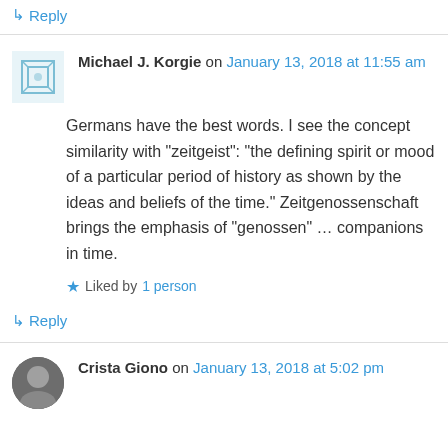↳ Reply
Michael J. Korgie on January 13, 2018 at 11:55 am
Germans have the best words. I see the concept similarity with “zeitgeist”: “the defining spirit or mood of a particular period of history as shown by the ideas and beliefs of the time.” Zeitgenossenschaft brings the emphasis of “genossen” … companions in time.
Liked by 1 person
↳ Reply
Crista Giono on January 13, 2018 at 5:02 pm